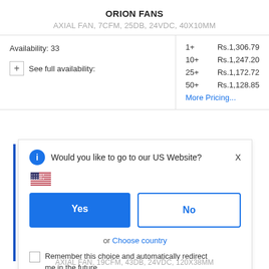ORION FANS
AXIAL FAN, 7CFM, 25DB, 24VDC, 40X10MM
| Qty | Price |
| --- | --- |
| 1+ | Rs.1,306.79 |
| 10+ | Rs.1,247.20 |
| 25+ | Rs.1,172.72 |
| 50+ | Rs.1,128.85 |
Availability: 33
+ See full availability:
More Pricing...
Would you like to go to our US Website?
Yes
No
or  Choose country
Remember this choice and automatically redirect me in the future
AXIAL FAN, 19CFM, 43DB, 24VDC, 120X38MM